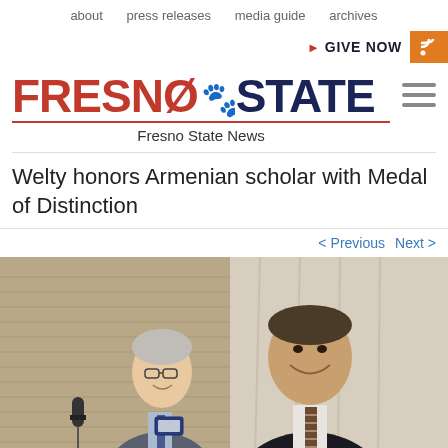about   press releases   media guide   archives
▶ GIVE NOW
[Figure (logo): Fresno State logo with paw print icon, red FRESNO and dark blue STATE text, subtitle Fresno State News]
Welty honors Armenian scholar with Medal of Distinction
< Previous   Next >
[Figure (photo): Two men standing together smiling, one holding a medal box. Left man has gray hair and glasses wearing a suit, right man is larger wearing a dark suit with striped tie.]